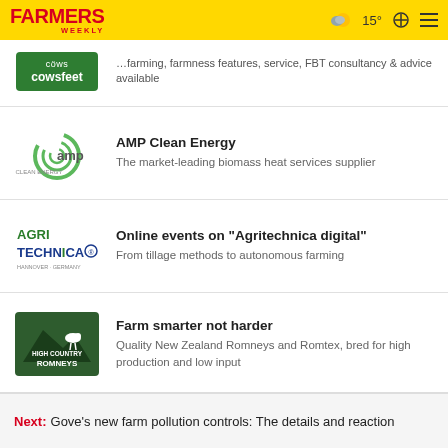FARMERS WEEKLY — 15° weather, search, menu
cowsfeet — farming, farmness features, service, FBT consultancy & advice available
AMP Clean Energy — The market-leading biomass heat services supplier
Online events on "Agritechnica digital" — From tillage methods to autonomous farming
Farm smarter not harder — Quality New Zealand Romneys and Romtex, bred for high production and low input
Next: Gove's new farm pollution controls: The details and reaction